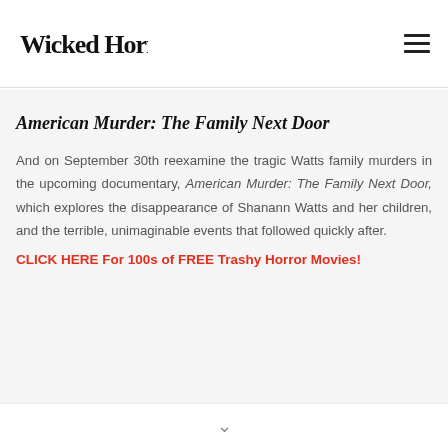Wicked Horror
American Murder: The Family Next Door
And on September 30th reexamine the tragic Watts family murders in the upcoming documentary, American Murder: The Family Next Door, which explores the disappearance of Shanann Watts and her children, and the terrible, unimaginable events that followed quickly after.
CLICK HERE For 100s of FREE Trashy Horror Movies!